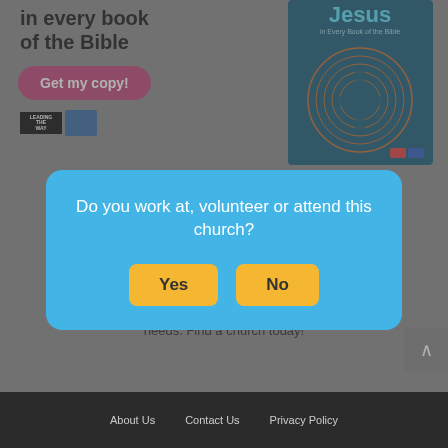[Figure (screenshot): Website page showing a book advertisement with title 'in every book of the Bible', a pink 'Get my copy!' button, and a teal book cover image for 'Jesus in Every Book of the Bible' on the right.]
Do you work at, volunteer or attend this church?
Yes
No
Chu... and Chr... by city, ...ited State... sy to browse through churches in your area. Our online Christian church directory makes it easy to list a church or find a church that meets your spiritual needs. Find a church today!
About Us   Contact Us   Privacy Policy